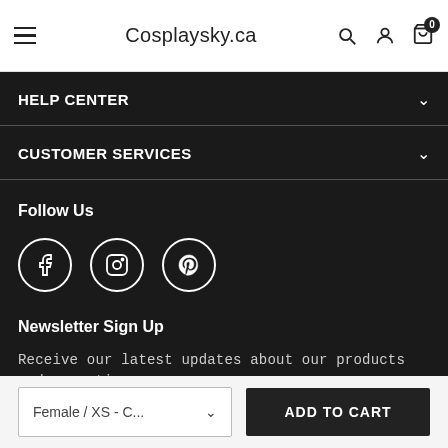Cosplaysky.ca
HELP CENTER
CUSTOMER SERVICES
Follow Us
[Figure (illustration): Social media icons: Facebook, Instagram, Pinterest in circles]
Newsletter Sign Up
Receive our latest updates about our products and promotions.
Female / XS - C...  ADD TO CART